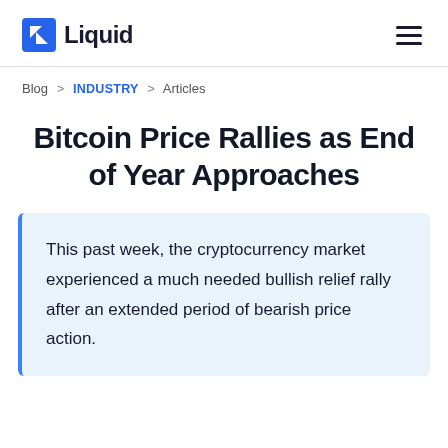Liquid
Blog > INDUSTRY > Articles
Bitcoin Price Rallies as End of Year Approaches
This past week, the cryptocurrency market experienced a much needed bullish relief rally after an extended period of bearish price action.